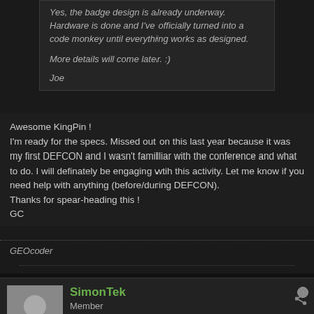Yes, the badge design is already underway. Hardware is done and I've officially turned into a code monkey until everything works as designed.

More details will come later. :)

Joe
Awesome KingPin !
I'm ready for the specs. Missed out on this last year because it was my first DEFCON and I wasn't familliar with the conference and what to do. I will definately be engaging wtih this activity. Let me know if you need help with anything (before/during DEFCON).
Thanks for spear-heading this !
GC
GEOcoder
SimonTek
Member
Join Date: Jul 2009   Posts: 2